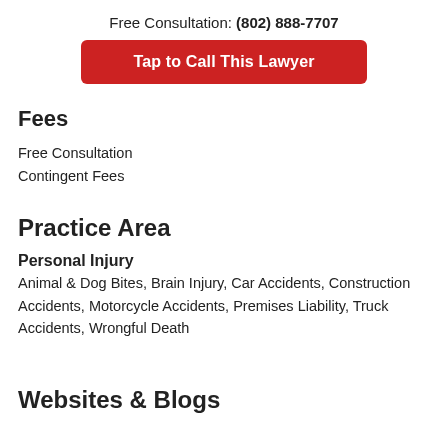Free Consultation: (802) 888-7707
[Figure (other): Red button with white bold text: Tap to Call This Lawyer]
Fees
Free Consultation
Contingent Fees
Practice Area
Personal Injury
Animal & Dog Bites, Brain Injury, Car Accidents, Construction Accidents, Motorcycle Accidents, Premises Liability, Truck Accidents, Wrongful Death
Websites & Blogs